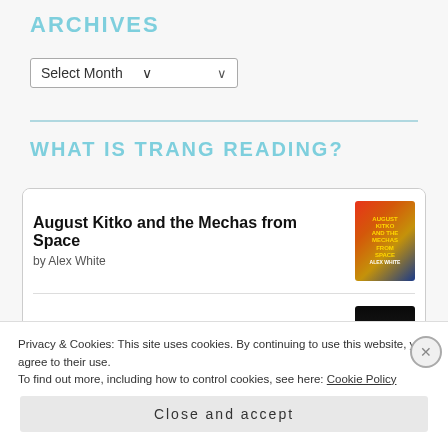ARCHIVES
Select Month
WHAT IS TRANG READING?
August Kitko and the Mechas from Space
by Alex White
Something Wicked This Way Comes
Privacy & Cookies: This site uses cookies. By continuing to use this website, you agree to their use.
To find out more, including how to control cookies, see here: Cookie Policy
Close and accept